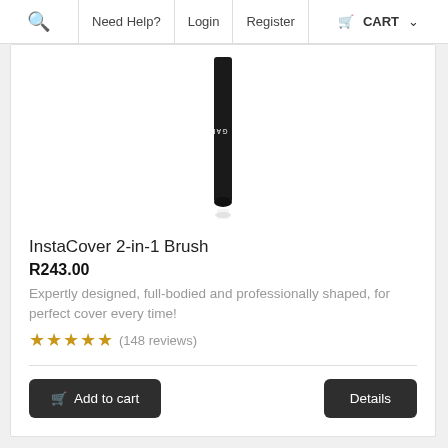🔍  Need Help?  Login  Register  🛒 CART ∨
[Figure (photo): Black makeup brush with 'ELLA GARCIA' branding on handle, shown vertically with reflection, product image for InstaCover 2-in-1 Brush]
InstaCover 2-in-1 Brush
R243.00
Expertly designed, full-bodied and professionally shaped, for perfect cover every time!
★★★★★ (148 reviews)